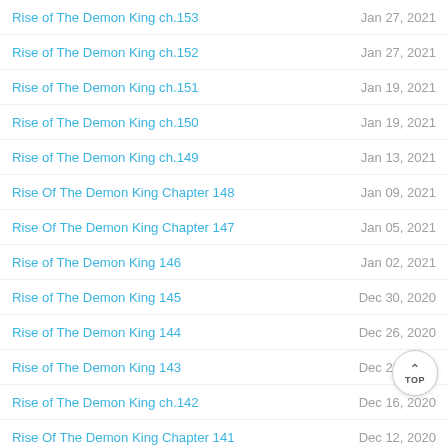Rise of The Demon King ch.153 | Jan 27, 2021
Rise of The Demon King ch.152 | Jan 27, 2021
Rise of The Demon King ch.151 | Jan 19, 2021
Rise of The Demon King ch.150 | Jan 19, 2021
Rise of The Demon King ch.149 | Jan 13, 2021
Rise Of The Demon King Chapter 148 | Jan 09, 2021
Rise Of The Demon King Chapter 147 | Jan 05, 2021
Rise of The Demon King 146 | Jan 02, 2021
Rise of The Demon King 145 | Dec 30, 2020
Rise of The Demon King 144 | Dec 26, 2020
Rise of The Demon King 143 | Dec 22, 2020
Rise of The Demon King ch.142 | Dec 16, 2020
Rise Of The Demon King Chapter 141 | Dec 12, 2020
Rise of The Demon King ch.140 | Dec 08, 2020
Rise Of The Demon King Chapter 139 | Dec 04, 2020
Rise of The Demon King ch.138 | Nov 30, 2020
Rise Of The Demon King Chapter 137 | Nov 25, 2020
Rise of The Demon King 136 | Nov 23, 2020
Rise of The Demon King 135 | Nov 18, 2020